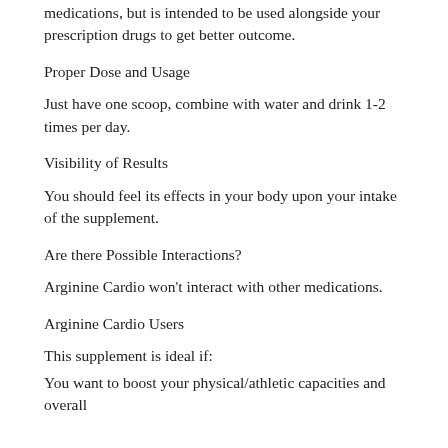medications, but is intended to be used alongside your prescription drugs to get better outcome.
Proper Dose and Usage
Just have one scoop, combine with water and drink 1-2 times per day.
Visibility of Results
You should feel its effects in your body upon your intake of the supplement.
Are there Possible Interactions?
Arginine Cardio won't interact with other medications.
Arginine Cardio Users
This supplement is ideal if:
You want to boost your physical/athletic capacities and overall